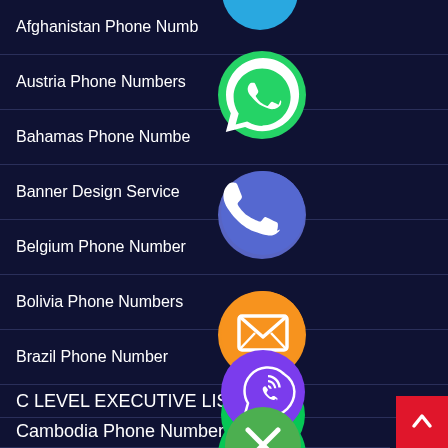Afghanistan Phone Numbers
Austria Phone Numbers
Bahamas Phone Numbers
Banner Design Service
Belgium Phone Number
Bolivia Phone Numbers
Brazil Phone Number
C LEVEL EXECUTIVE LIST
Cambodia Phone Number